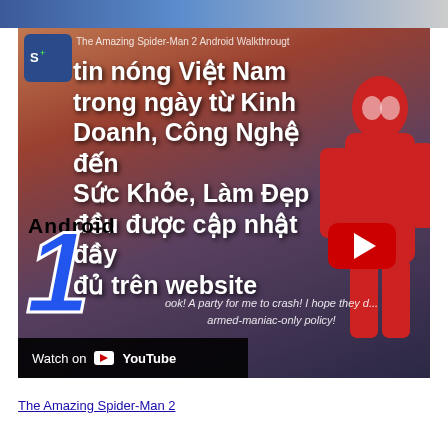[Figure (screenshot): YouTube video embed showing The Amazing Spider-Man 2 Android Walkthrough, with overlay Vietnamese text and play button. Text overlay reads: 'tin nóng Việt Nam trong ngày từ Kinh Doanh, Công Nghệ đến Sức Khỏe, Làm Đẹp đều được cập nhật đầy đủ trên website'. Bottom subtitle: 'ook! A party for me to crash! I hope they d... armed-maniac-only policy!' Watch on YouTube bar at bottom left.]
The Amazing Spider-Man 2